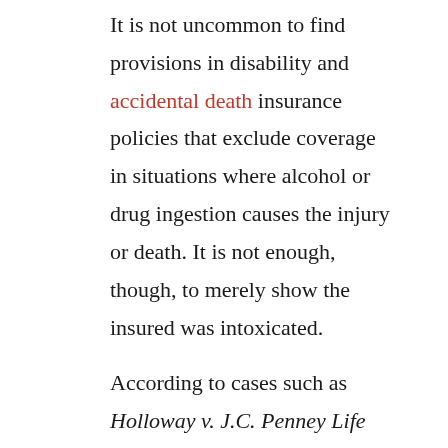It is not uncommon to find provisions in disability and accidental death insurance policies that exclude coverage in situations where alcohol or drug ingestion causes the injury or death. It is not enough, though, to merely show the insured was intoxicated.

According to cases such as Holloway v. J.C. Penney Life Insurance Co., 190 F.3d 838 (7th Cir. 1999), a “status intoxication” exclusion violates Illinois public policy.